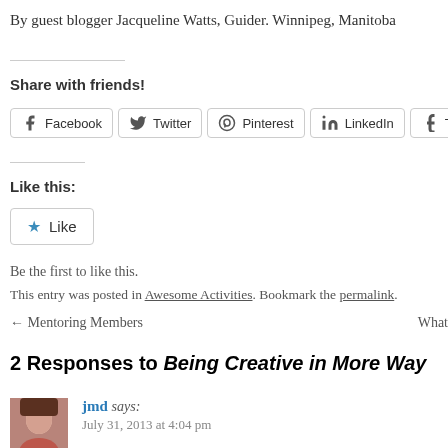By guest blogger Jacqueline Watts, Guider. Winnipeg, Manitoba
Share with friends!
[Figure (other): Social share buttons: Facebook, Twitter, Pinterest, LinkedIn, Tumblr]
Like this:
[Figure (other): Like button with star icon]
Be the first to like this.
This entry was posted in Awesome Activities. Bookmark the permalink.
← Mentoring Members    What
2 Responses to Being Creative in More Way
jmd says: July 31, 2013 at 4:04 pm